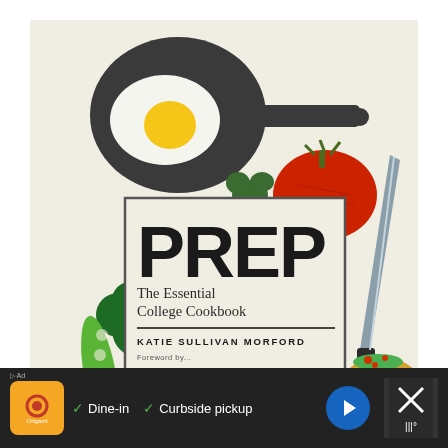[Figure (illustration): Book cover for 'PREP: The Essential College Cookbook' by Katie Sullivan Morford. Cream/off-white background with illustrated food items: a dark frying pan with a fried egg (white and yellow yolk), a red tomato, green broccoli floret, a chef's knife in gray, a green snap pea pod, and a taco in the bottom-right corner. A rectangular bordered box in the center displays the title 'PREP', subtitle 'The Essential College Cookbook', a horizontal rule, and the author name 'KATIE SULLIVAN MORFORD'.]
[Figure (infographic): Advertisement bar at the bottom with dark background. Shows an orange restaurant logo on the left, a blue navigation arrow icon, check marks for 'Dine-in' and 'Curbside pickup', and a dark panel with an X and thermometer icon on the right.]